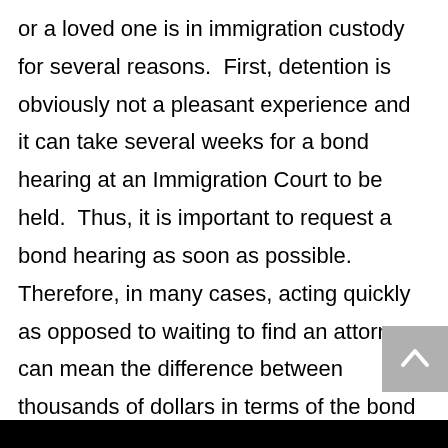or a loved one is in immigration custody for several reasons.  First, detention is obviously not a pleasant experience and it can take several weeks for a bond hearing at an Immigration Court to be held.  Thus, it is important to request a bond hearing as soon as possible. Therefore, in many cases, acting quickly as opposed to waiting to find an attorney can mean the difference between thousands of dollars in terms of the bond amount and sometimes whether the detainee will be eligible for a bond or not.